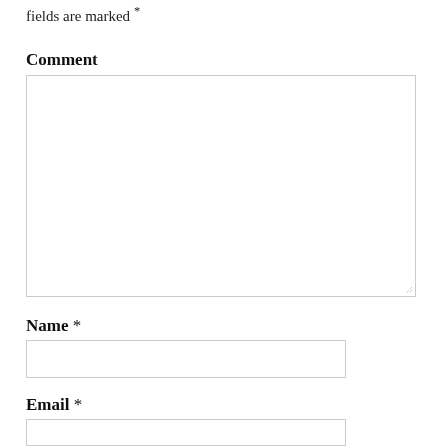fields are marked *
Comment
[Figure (other): Large empty textarea for comment input with resize handle at bottom right]
Name *
[Figure (other): Single-line text input field for Name]
Email *
[Figure (other): Single-line text input field for Email]